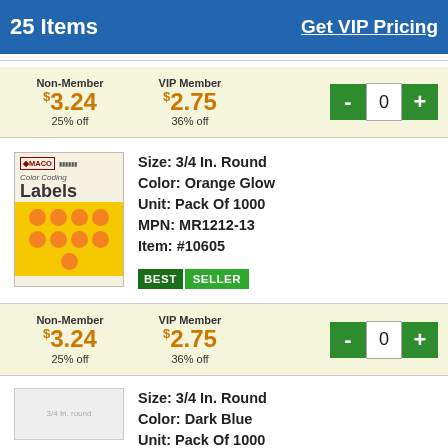25 Items   Get VIP Pricing
| Non-Member | VIP Member | Qty |
| --- | --- | --- |
| $3.24 / 25% off | $2.75 / 36% off | - 0 + |
[Figure (photo): MACO Color Coding Labels package with orange dot stickers on yellow background]
Size: 3/4 In. Round
Color: Orange Glow
Unit: Pack Of 1000
MPN: MR1212-13
Item: #10605
BEST SELLER
| Non-Member | VIP Member | Qty |
| --- | --- | --- |
| $3.24 / 25% off | $2.75 / 36% off | - 0 + |
Size: 3/4 In. Round
Color: Dark Blue
Unit: Pack Of 1000